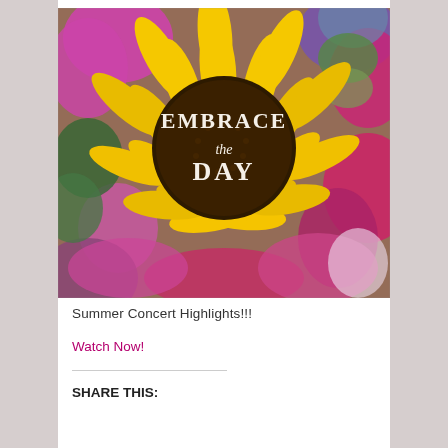[Figure (photo): A large sunflower with a dark center containing the text 'EMBRACE the DAY' in white lettering, surrounded by colorful flowers including pink, purple, and green blooms.]
Summer Concert Highlights!!!
Watch Now!
SHARE THIS: